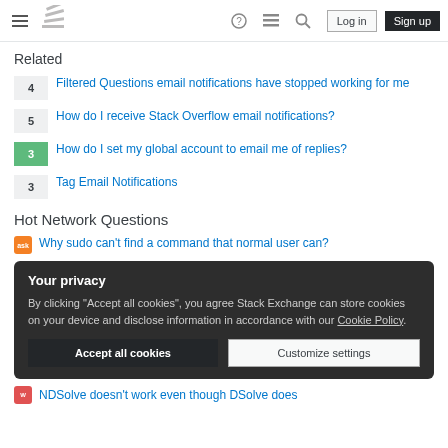Stack Exchange navigation bar with Log in and Sign up buttons
Related
4  Filtered Questions email notifications have stopped working for me
5  How do I receive Stack Overflow email notifications?
3  How do I set my global account to email me of replies?
3  Tag Email Notifications
Hot Network Questions
Why sudo can't find a command that normal user can?
Your privacy
By clicking "Accept all cookies", you agree Stack Exchange can store cookies on your device and disclose information in accordance with our Cookie Policy.
Accept all cookies  Customize settings
NDSolve doesn't work even though DSolve does